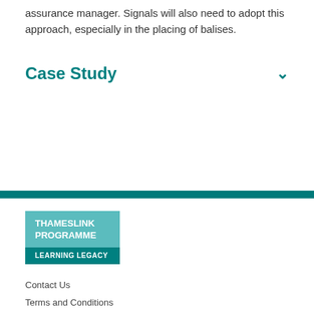assurance manager. Signals will also need to adopt this approach, especially in the placing of balises.
Case Study
[Figure (logo): Thameslink Programme Learning Legacy logo — teal square with white text]
Contact Us
Terms and Conditions